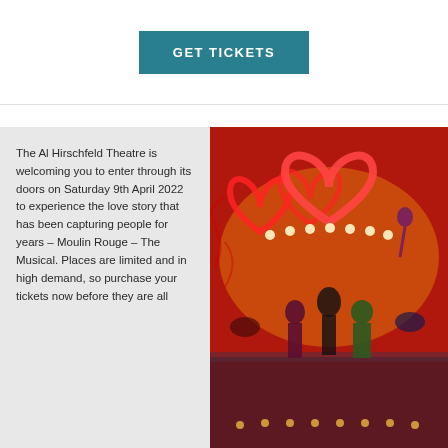GET TICKETS
The Al Hirschfeld Theatre is welcoming you to enter through its doors on Saturday 9th April 2022 to experience the love story that has been capturing people for years – Moulin Rouge – The Musical. Places are limited and in high demand, so purchase your tickets now before they are all
[Figure (photo): Stage scene from Moulin Rouge The Musical showing performers on a vibrant red stage with a large illuminated heart backdrop]